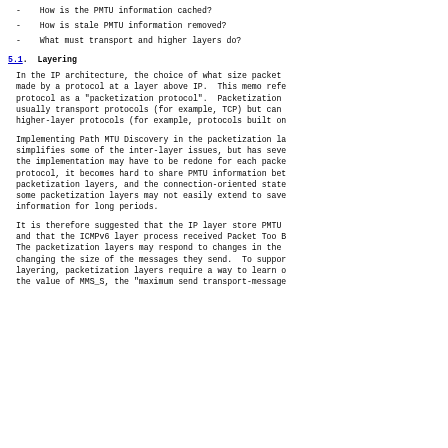-   How is the PMTU information cached?
-   How is stale PMTU information removed?
-   What must transport and higher layers do?
5.1.  Layering
In the IP architecture, the choice of what size packet made by a protocol at a layer above IP.  This memo refe protocol as a "packetization protocol".  Packetization usually transport protocols (for example, TCP) but can higher-layer protocols (for example, protocols built on
Implementing Path MTU Discovery in the packetization la simplifies some of the inter-layer issues, but has seve the implementation may have to be redone for each packe protocol, it becomes hard to share PMTU information bet packetization layers, and the connection-oriented state some packetization layers may not easily extend to save information for long periods.
It is therefore suggested that the IP layer store PMTU and that the ICMPv6 layer process received Packet Too B The packetization layers may respond to changes in the changing the size of the messages they send.  To suppor layering, packetization layers require a way to learn o the value of MMS_S, the "maximum send transport-message